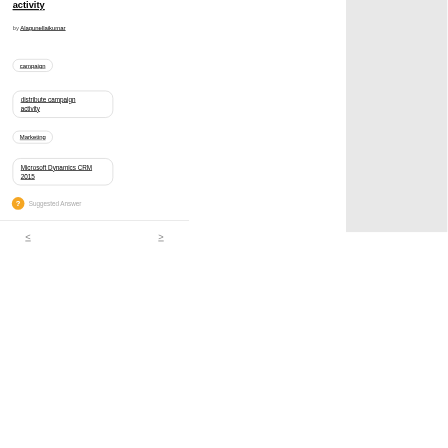activity
by Alagunellaikumar
campaign
distribute campaign activity
Marketing
Microsoft Dynamics CRM 2015
Suggested Answer